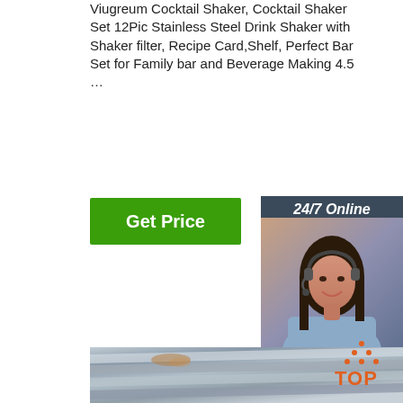Viugreum Cocktail Shaker, Cocktail Shaker Set 12Pic Stainless Steel Drink Shaker with Shaker filter, Recipe Card,Shelf, Perfect Bar Set for Family bar and Beverage Making 4.5 …
[Figure (other): Green 'Get Price' button]
[Figure (other): Sidebar with '24/7 Online' text, woman with headset photo, 'Click here for free chat!' text, and orange QUOTATION button]
[Figure (photo): Stainless steel sheets/plates stacked at an angle, metallic gray color with some rust spots]
[Figure (logo): Orange TOP logo with dots in triangle pattern at bottom right]